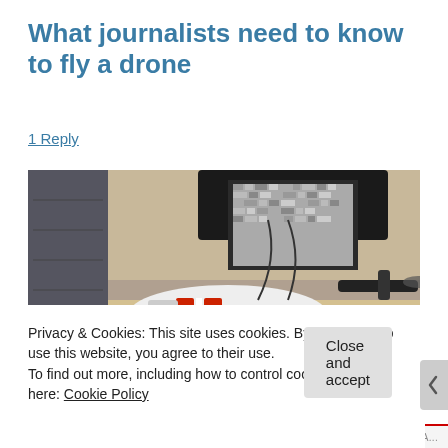What journalists need to know to fly a drone
1 Reply
[Figure (photo): Close-up photo of a white consumer drone (DJI Phantom style) with red stripe markings on its body, placed on a table. A controller/monitor with a screen showing static/noise is mounted above it, with a sun hood. The drone's propeller arms are visible on the right side.]
Privacy & Cookies: This site uses cookies. By continuing to use this website, you agree to their use.
To find out more, including how to control cookies, see here: Cookie Policy
Close and accept